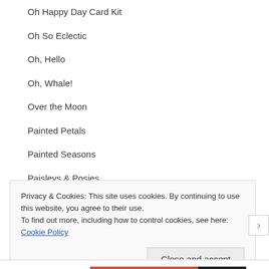Oh Happy Day Card Kit
Oh So Eclectic
Oh, Hello
Oh, Whale!
Over the Moon
Painted Petals
Painted Seasons
Paisleys & Posies
Papillon Potpourri
Privacy & Cookies: This site uses cookies. By continuing to use this website, you agree to their use.
To find out more, including how to control cookies, see here: Cookie Policy
Close and accept